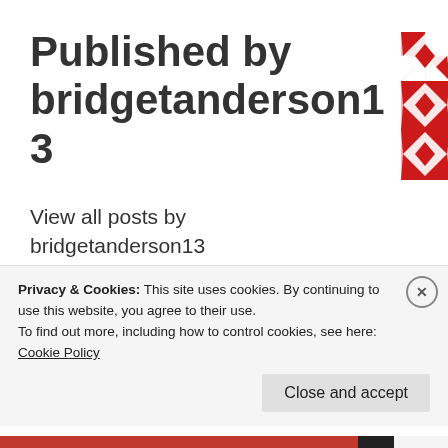Published by bridgetanderson13
[Figure (illustration): Red and white geometric quilt-pattern square logo]
View all posts by bridgetanderson13
Leave a Reply
Privacy & Cookies: This site uses cookies. By continuing to use this website, you agree to their use. To find out more, including how to control cookies, see here: Cookie Policy